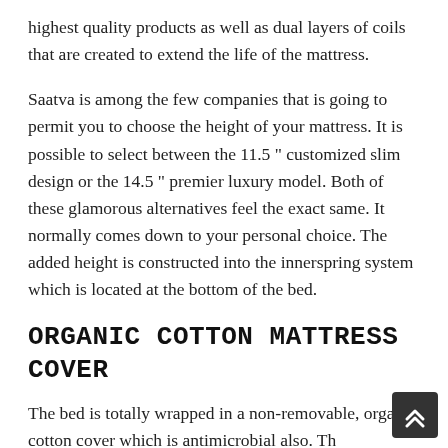highest quality products as well as dual layers of coils that are created to extend the life of the mattress.
Saatva is among the few companies that is going to permit you to choose the height of your mattress. It is possible to select between the 11.5 " customized slim design or the 14.5 " premier luxury model. Both of these glamorous alternatives feel the exact same. It normally comes down to your personal choice. The added height is constructed into the innerspring system which is located at the bottom of the bed.
ORGANIC COTTON MATTRESS COVER
The bed is totally wrapped in a non-removable, organic cotton cover which is antimicrobial also. Th